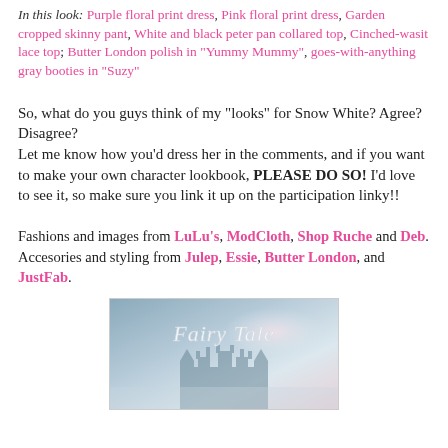In this look: Purple floral print dress, Pink floral print dress, Garden cropped skinny pant, White and black peter pan collared top, Cinched-wasit lace top; Butter London polish in "Yummy Mummy", goes-with-anything gray booties in "Suzy"
So, what do you guys think of my "looks" for Snow White? Agree? Disagree?
Let me know how you'd dress her in the comments, and if you want to make your own character lookbook, PLEASE DO SO! I'd love to see it, so make sure you link it up on the participation linky!!
Fashions and images from LuLu's, ModCloth, Shop Ruche and Deb. Accesories and styling from Julep, Essie, Butter London, and JustFab.
[Figure (illustration): Fairy Tale themed banner/logo image with stylized cursive text 'Fairy Tale' over a misty castle silhouette background in blue-gray tones with soft pink sky]